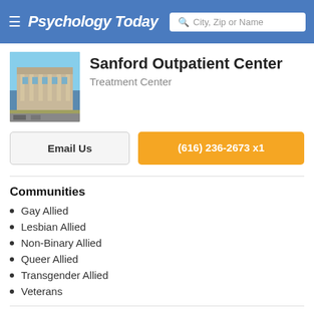Psychology Today — City, Zip or Name search bar
Sanford Outpatient Center
Treatment Center
Email Us
(616) 236-2673 x1
Communities
Gay Allied
Lesbian Allied
Non-Binary Allied
Queer Allied
Transgender Allied
Veterans
Programs and Services